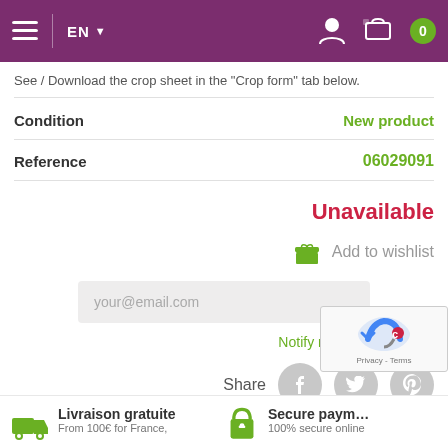EN
See / Download the crop sheet in the "Crop form" tab below.
| Condition | New product |
| --- | --- |
| Reference | 06029091 |
Unavailable
Add to wishlist
your@email.com
Notify me when available
Share
Livraison gratuite
From 100€ for France,
Secure payment
100% secure online